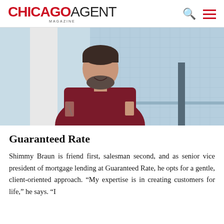CHICAGO AGENT MAGAZINE
[Figure (photo): Professional photo of Shimmy Braun, a man wearing a dark red/maroon t-shirt, standing in front of large windows with a city skyline background, smiling at the camera. He has tattoos on his left arm.]
Guaranteed Rate
Shimmy Braun is friend first, salesman second, and as senior vice president of mortgage lending at Guaranteed Rate, he opts for a gentle, client-oriented approach. "My expertise is in creating customers for life," he says. "I